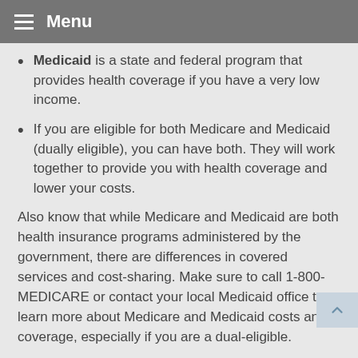Menu
Medicaid is a state and federal program that provides health coverage if you have a very low income.
If you are eligible for both Medicare and Medicaid (dually eligible), you can have both. They will work together to provide you with health coverage and lower your costs.
Also know that while Medicare and Medicaid are both health insurance programs administered by the government, there are differences in covered services and cost-sharing. Make sure to call 1-800-MEDICARE or contact your local Medicaid office to learn more about Medicare and Medicaid costs and coverage, especially if you are a dual-eligible.
© 2022 Medicare Rights Center. Used with permission.
The content is developed from sources believed to be providing accurate